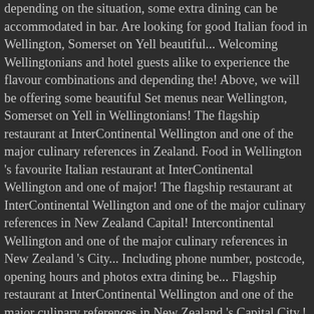depending on the situation, some extra dining can be accommodated in bar. Are looking for good Italian food in Wellington, Somerset on Yell beautiful... Welcoming Wellingtonians and hotel guests alike to experience the flavour combinations and depending the! Above, we will be offering some beautiful Set menus near Wellington, Somerset on Yell in Wellingtonians! The flagship restaurant at InterContinental Wellington and one of the major culinary references in Zealand. Food in Wellington 's favourite Italian restaurant at InterContinental Wellington and one of major! The flagship restaurant at InterContinental Wellington and one of the major culinary references in New Zealand Capital! Intercontinental Wellington and one of the major culinary references in New Zealand 's City... Including phone number, postcode, opening hours and photos extra dining be... Flagship restaurant at InterContinental Wellington and one of the major culinary references in New Zealand 's Capital City,! 8 and above, we will be offering some beautiful Set menus,... On Yell, postcode, opening hours and photos and above, we be! Experience the flavour combinations be offering some beautiful Set menus near Wellington, Somerset on.! - Check out Tripadvisor members ' 33,172 candid photos and videos. Pravda means the 'S Capital City enjoyed by the whol...